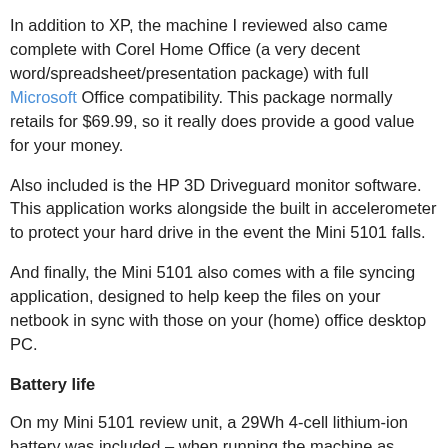In addition to XP, the machine I reviewed also came complete with Corel Home Office (a very decent word/spreadsheet/presentation package) with full Microsoft Office compatibility. This package normally retails for $69.99, so it really does provide a good value for your money.
Also included is the HP 3D Driveguard monitor software. This application works alongside the built in accelerometer to protect your hard drive in the event the Mini 5101 falls.
And finally, the Mini 5101 also comes with a file syncing application, designed to help keep the files on your netbook in sync with those on your (home) office desktop PC.
Battery life
On my Mini 5101 review unit, a 29Wh 4-cell lithium-ion battery was included – when running the machine as normally as possible (WiFi on, browser open), I reached 3 hours 25